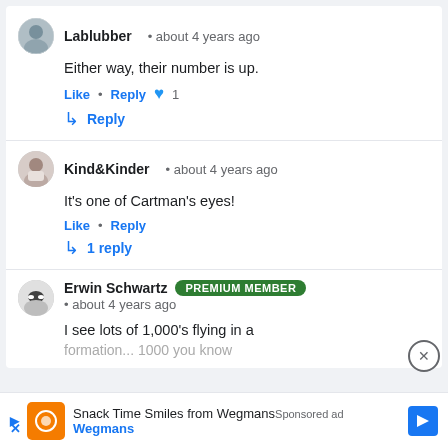Lablubber • about 4 years ago
Either way, their number is up.
Like • Reply ♥ 1
↳ Reply
Kind&Kinder • about 4 years ago
It's one of Cartman's eyes!
Like • Reply
↳ 1 reply
Erwin Schwartz PREMIUM MEMBER • about 4 years ago
I see lots of 1,000's flying in a formation... 1000 you know
[Figure (screenshot): Wegmans Snack Time Smiles advertisement banner at bottom of page]